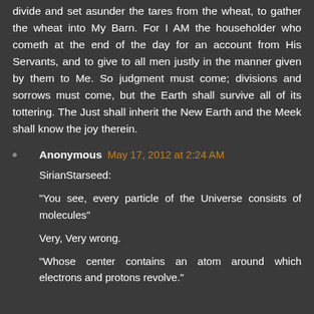divide and set asunder the tares from the wheat, to gather the wheat into My Barn. For I AM the householder who cometh at the end of the day for an account from His Servants, and to give to all men justly in the manner given by them to Me. So judgment must come; divisions and sorrows must come, but the Earth shall survive all of its tottering. The Just shall inherit the New Earth and the Meek shall know the joy therein.
Anonymous May 17, 2012 at 2:24 AM
SirianStarseed:

"You see, every particle of the Universe consists of molecules"

Very, Very wrong.

"Whose center contains an atom around which electrons and protons revolve."